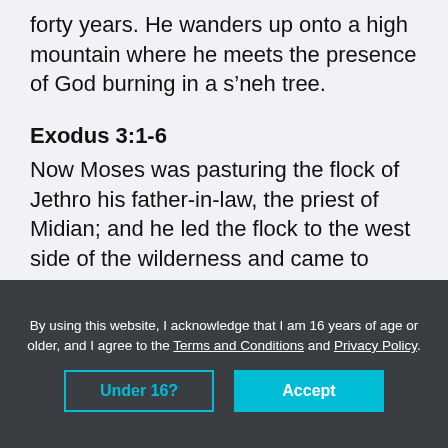forty years. He wanders up onto a high mountain where he meets the presence of God burning in a s’neh tree.
Exodus 3:1-6
Now Moses was pasturing the flock of Jethro his father-in-law, the priest of Midian; and he led the flock to the west side of the wilderness and came to Horeb, the mountain of God. The angel of the Lord appeared to him in a blazing
By using this website, I acknowledge that I am 16 years of age or older, and I agree to the Terms and Conditions and Privacy Policy.
Under 16?
Accept